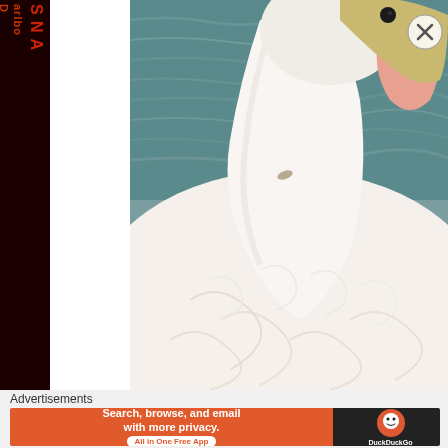[Figure (photo): Close-up photograph of a white pelican preening or grooming itself, showing its distinctive large orange/yellow bill and white feathers, with blurred water in the background.]
Advertisements
[Figure (infographic): DuckDuckGo advertisement banner. Left orange section reads 'Search, browse, and email with more privacy. All in One Free App'. Right dark section shows DuckDuckGo logo and name.]